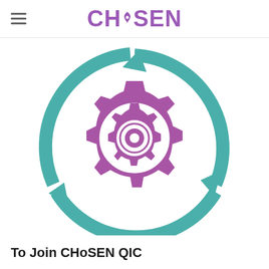CHoSEN
[Figure (logo): CHoSEN QIC logo: a purple gear/cog overlaid with teal circular arrows forming a cycle, representing quality improvement collaboration.]
To Join CHoSEN QIC